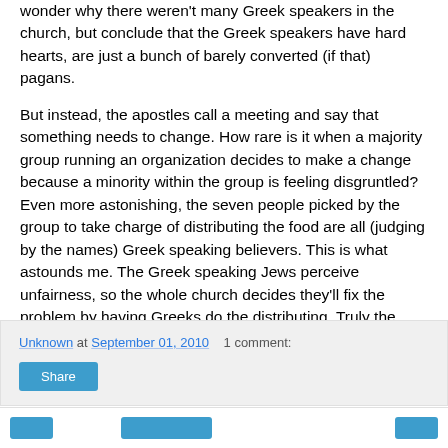wonder why there weren't many Greek speakers in the church, but conclude that the Greek speakers have hard hearts, are just a bunch of barely converted (if that) pagans.
But instead, the apostles call a meeting and say that something needs to change. How rare is it when a majority group running an organization decides to make a change because a minority within the group is feeling disgruntled? Even more astonishing, the seven people picked by the group to take charge of distributing the food are all (judging by the names) Greek speaking believers. This is what astounds me. The Greek speaking Jews perceive unfairness, so the whole church decides they'll fix the problem by having Greeks do the distributing. Truly the Spirit was working in the hearts of the church members.
Unknown at September 01, 2010  1 comment:
Share